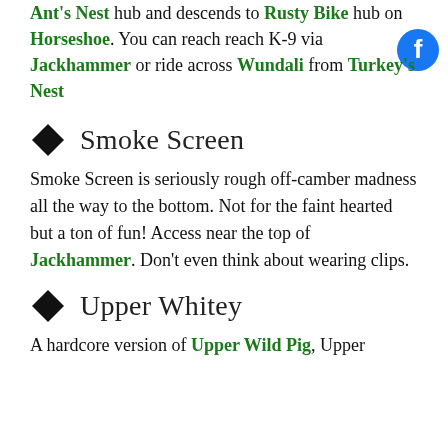Ant's Nest hub and descends to Rusty Bike hub on Horseshoe. You can reach reach K-9 via Jackhammer or ride across Wundali from Turkey's Nest
Smoke Screen
Smoke Screen is seriously rough off-camber madness all the way to the bottom. Not for the faint hearted but a ton of fun! Access near the top of Jackhammer. Don't even think about wearing clips.
Upper Whitey
A hardcore version of Upper Wild Pig, Upper